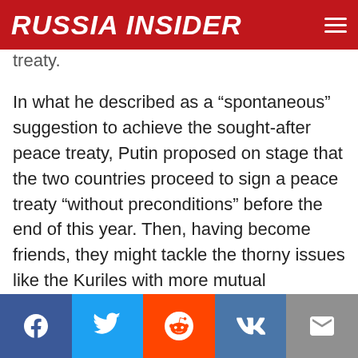RUSSIA INSIDER
treaty.
In what he described as a “spontaneous” suggestion to achieve the sought-after peace treaty, Putin proposed on stage that the two countries proceed to sign a peace treaty “without preconditions” before the end of this year. Then, having become friends, they might tackle the thorny issues like the Kuriles with more mutual confidence.  This proposal, which Abe later acknowledged he was hearing for the first time, was later dismissed as unworkable by the Japanese diplomats present.
Social share bar: Facebook, Twitter, Reddit, VK, Email